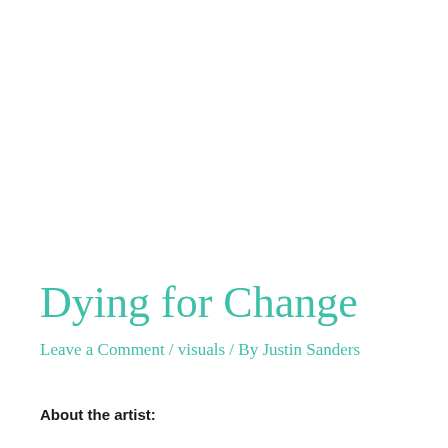Dying for Change
Leave a Comment / visuals / By Justin Sanders
About the artist: